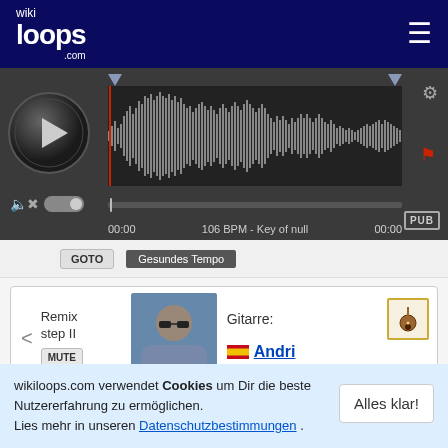[Figure (screenshot): wikiloops.com website header with logo and hamburger menu]
[Figure (screenshot): Audio player with waveform, play button, time display showing 00:00, 106 BPM, Key of null, PUB badge]
GOTO  Gesundes Tempo
Remix step II  MUTE  Gitarre:  Andri  1258 jams
wikiloops.com verwendet Cookies um Dir die beste Nutzererfahrung zu ermöglichen. Lies mehr in unseren Datenschutzbestimmungen .
Alles klar!